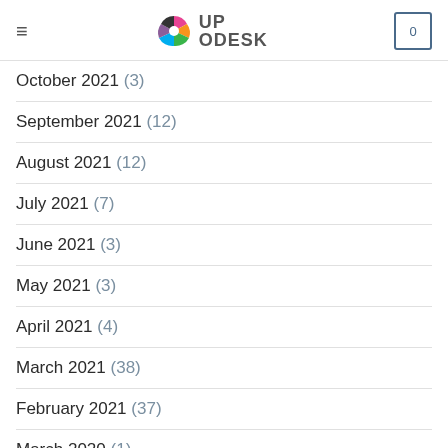UPODESK navigation header with logo and cart
October 2021 (3)
September 2021 (12)
August 2021 (12)
July 2021 (7)
June 2021 (3)
May 2021 (3)
April 2021 (4)
March 2021 (38)
February 2021 (37)
March 2020 (1)